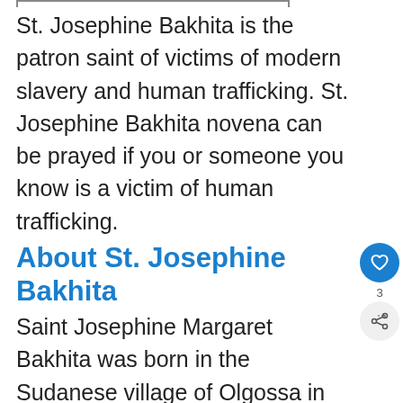St. Josephine Bakhita is the patron saint of victims of modern slavery and human trafficking. St. Josephine Bakhita novena can be prayed if you or someone you know is a victim of human trafficking.
About St. Josephine Bakhita
Saint Josephine Margaret Bakhita was born in the Sudanese village of Olgossa in the year 1869. Her uncle was a tribal chief and she was a